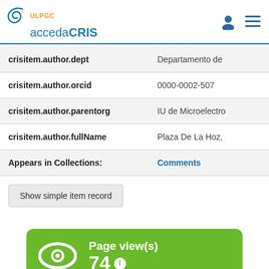ULPGC accedaCRIS
| Field | Value |
| --- | --- |
| crisitem.author.dept | Departamento de |
| crisitem.author.orcid | 0000-0002-507 |
| crisitem.author.parentorg | IU de Microelectro |
| crisitem.author.fullName | Plaza De La Hoz, |
| Appears in Collections: | Comments |
Show simple item record
[Figure (infographic): Green box showing Page view(s) count: 74, with an eye icon on the left and an info icon next to the number.]